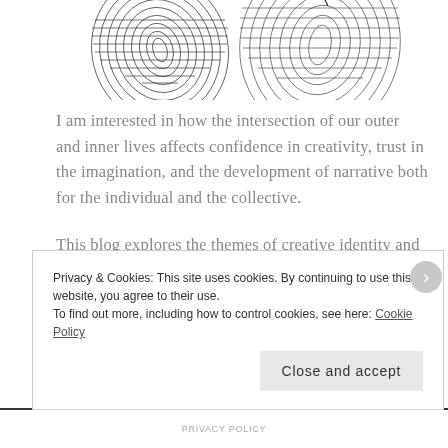[Figure (illustration): Partial view of a detailed black-and-white line art illustration, showing contoured/hatched circular forms resembling topographic or organic shapes, cropped at the top of the page.]
I am interested in how the intersection of our outer and inner lives affects confidence in creativity, trust in the imagination, and the development of narrative both for the individual and the collective.
This blog explores the themes of creative identity and creative process, and the way in which external conditions and life experiences intersect with how we experience these innate but often unsupported parts of our inner lives.
Privacy & Cookies: This site uses cookies. By continuing to use this website, you agree to their use.
To find out more, including how to control cookies, see here: Cookie Policy
PRIVACY POLICY